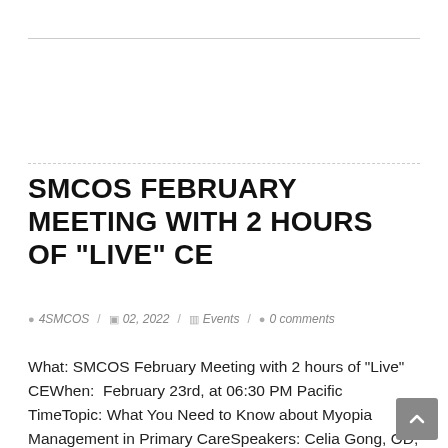SMCOS FEBRUARY MEETING WITH 2 HOURS OF "LIVE" CE
4SMCOS / 02, 2022 / Events / 0 comments
What: SMCOS February Meeting with 2 hours of "Live" CEWhen:  February 23rd, at 06:30 PM Pacific TimeTopic: What You Need to Know about Myopia Management in Primary CareSpeakers: Celia Gong, OD, MS, FAAO, FSLS, Liandra Jung, OD, Karen Molina, OD, FAAO Cost: FREE for SMCOS members, $25: non-SMCOS/COA members